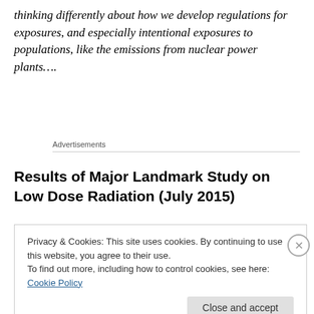thinking differently about how we develop regulations for exposures, and especially intentional exposures to populations, like the emissions from nuclear power plants….
Advertisements
Results of Major Landmark Study on Low Dose Radiation (July 2015)
Privacy & Cookies: This site uses cookies. By continuing to use this website, you agree to their use.
To find out more, including how to control cookies, see here: Cookie Policy